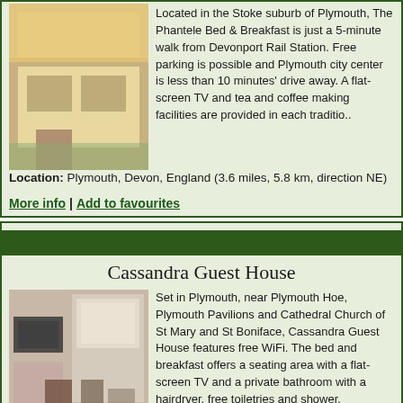Located in the Stoke suburb of Plymouth, The Phantele Bed & Breakfast is just a 5-minute walk from Devonport Rail Station. Free parking is possible and Plymouth city center is less than 10 minutes' drive away. A flat-screen TV and tea and coffee making facilities are provided in each traditio..
Location: Plymouth, Devon, England (3.6 miles, 5.8 km, direction NE)
More info | Add to favourites
Cassandra Guest House
Set in Plymouth, near Plymouth Hoe, Plymouth Pavilions and Cathedral Church of St Mary and St Boniface, Cassandra Guest House features free WiFi. The bed and breakfast offers a seating area with a flat-screen TV and a private bathroom with a hairdryer, free toiletries and shower. Cassandra Guest Ho..
Location: Plymouth, Devon, England (3.6 miles, 5.8 km, direction NE)
More info | Add to favourites